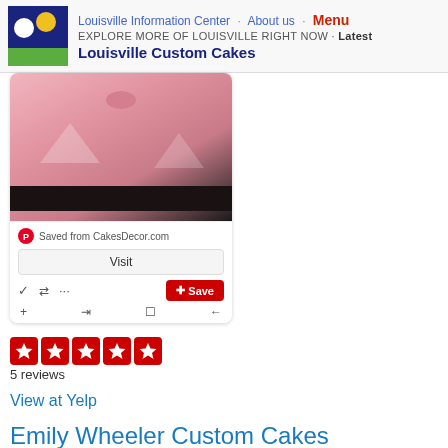Louisville Information Center · About us · Menu
EXPLORE MORE OF LOUISVILLE RIGHT NOW · Latest
Louisville Custom Cakes
[Figure (screenshot): Pinterest card showing a pink custom cake image, saved from CakesDecor.com, with Visit button, action icons, and a red Save button]
[Figure (other): Five red star rating icons]
5 reviews
View at Yelp
Emily Wheeler Custom Cakes
Customcakes
Louisville, KY 40223